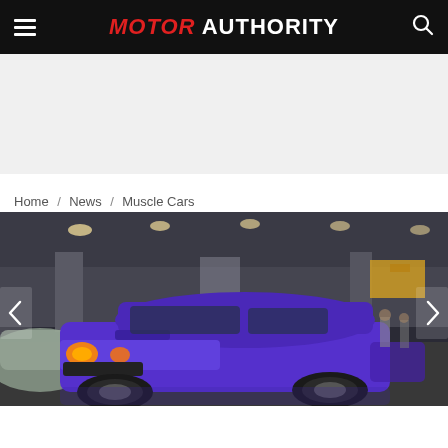MOTOR AUTHORITY
Home / News / Muscle Cars
[Figure (photo): Purple muscle car (Dodge Challenger style) displayed at an indoor auto show, photographed from a low angle. The car is vivid purple/violet with amber headlights. Other cars visible in background along with exhibition hall lighting and banners.]